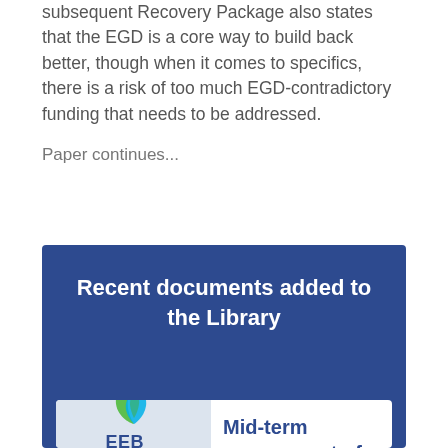subsequent Recovery Package also states that the EGD is a core way to build back better, though when it comes to specifics, there is a risk of too much EGD-contradictory funding that needs to be addressed.
Paper continues...
Recent documents added to the Library
[Figure (logo): EEB (European Environmental Bureau) logo with green and blue leaf/droplet mark]
Mid-term assessment of the European